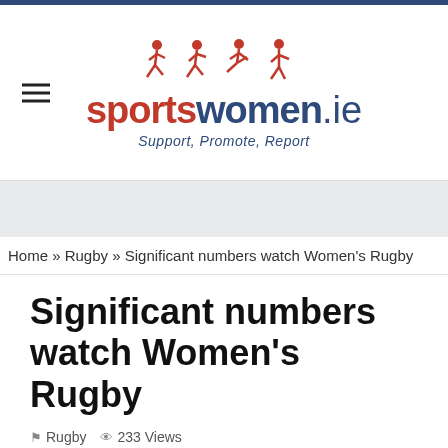[Figure (logo): sportswomen.ie logo with running figures silhouettes in red/orange and text 'sportswomen.ie, Support, Promote, Report']
Home » Rugby » Significant numbers watch Women's Rugby
Significant numbers watch Women's Rugby
Rugby   233 Views
Last weekend RTE televised the women's rugby match against France. It was a Saturday night 8pm broadcast. Figures from RTE show that the game had an average of 159,700 viewers across the